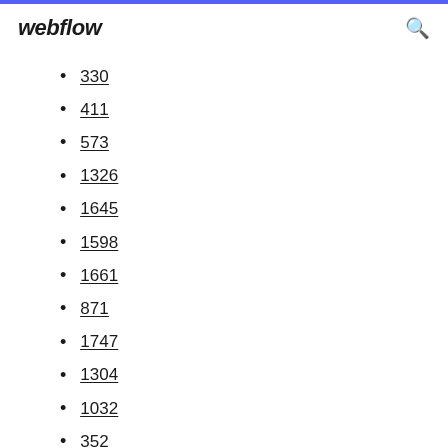webflow
330
411
573
1326
1645
1598
1661
871
1747
1304
1032
352